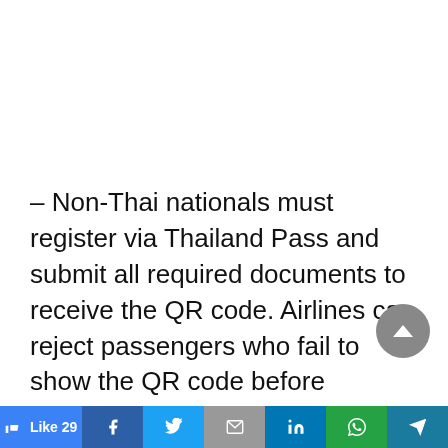– Non-Thai nationals must register via Thailand Pass and submit all required documents to receive the QR code. Airlines can reject passengers who fail to show the QR code before boarding.
– Travellers with a certificate of full vaccination against Covid-19 will not have to take a test upon arrival. However, they are advised to take a test if